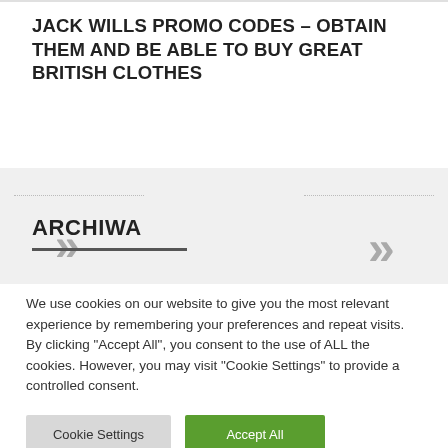JACK WILLS PROMO CODES – OBTAIN THEM AND BE ABLE TO BUY GREAT BRITISH CLOTHES
ARCHIWA
We use cookies on our website to give you the most relevant experience by remembering your preferences and repeat visits. By clicking "Accept All", you consent to the use of ALL the cookies. However, you may visit "Cookie Settings" to provide a controlled consent.